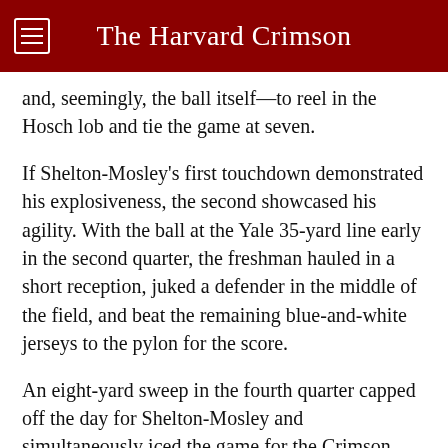The Harvard Crimson
and, seemingly, the ball itself—to reel in the Hosch lob and tie the game at seven.
If Shelton-Mosley's first touchdown demonstrated his explosiveness, the second showcased his agility. With the ball at the Yale 35-yard line early in the second quarter, the freshman hauled in a short reception, juked a defender in the middle of the field, and beat the remaining blue-and-white jerseys to the pylon for the score.
An eight-yard sweep in the fourth quarter capped off the day for Shelton-Mosley and simultaneously iced the game for the Crimson. The freshman finished with 119 receiving yards.
“[Shelton-Mosley] makes routine plays great,” Hosch said. “He just made me look good all year, and I know that I